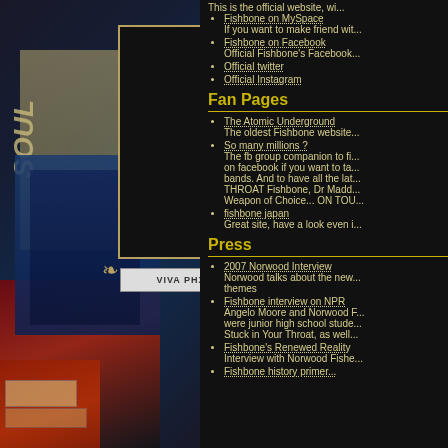[Figure (illustration): Left panel showing a collage of Fishbone band posters and album artwork in dark tones with reds, creams, and blues. Contains 'VIVA PHX' text box with decorative ornaments. 'SOUL' text visible vertically.]
This is the official website, wi...
Fishbone on MySpace
If you want to make friend wit...
Fishbone on Facebook
Official Fishbone's Facebook...
Official twitter
Official Instagram
Fan Pages
The Atomic Underground
The oldest Fishbone website...
So many millions ?
The fb group companion to fi... on facebook if you want to ta... bands. And to have all the lat... THROAT Fishbone, Dr Madd... Weapon of Choice... ON TOU...
fishbone japan
Great site, have a look even i...
Press
2007 Norwood Interview
Norwood talks about the new... themes
Fishbone interview on NPR
Angelo Moore and Norwood F... were junior high school stude... Stuck in Your Throat, as well...
Fishbone's Renewed Reality
Interview with Norwood Fishe...
Fishbone history primer...